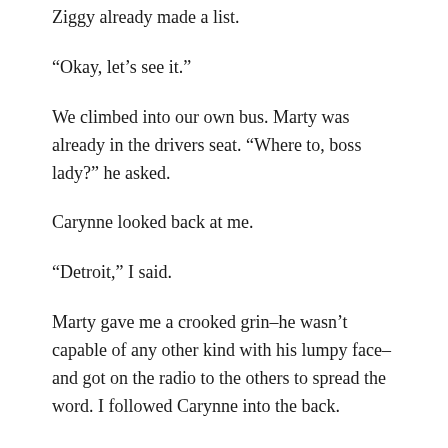Ziggy already made a list.
“Okay, let’s see it.”
We climbed into our own bus. Marty was already in the drivers seat. “Where to, boss lady?” he asked.
Carynne looked back at me.
“Detroit,” I said.
Marty gave me a crooked grin–he wasn’t capable of any other kind with his lumpy face–and got on the radio to the others to spread the word. I followed Carynne into the back.
Ziggy was still in the same spot in the back lounge, his blanket spread around him and a phalanx of guardian stuffed animals around him.